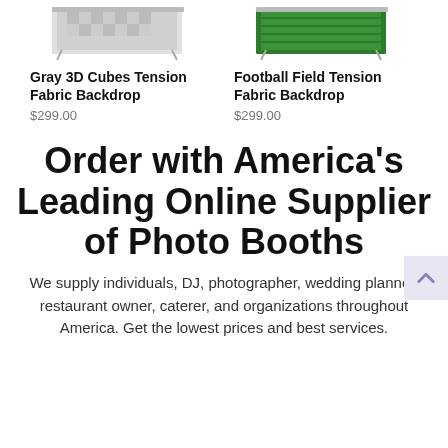[Figure (photo): Gray 3D Cubes Tension Fabric Backdrop product image]
[Figure (photo): Football Field Tension Fabric Backdrop product image]
Gray 3D Cubes Tension Fabric Backdrop
$299.00
Football Field Tension Fabric Backdrop
$299.00
Order with America's Leading Online Supplier of Photo Booths
We supply individuals, DJ, photographer, wedding planner, restaurant owner, caterer, and organizations throughout America. Get the lowest prices and best services.